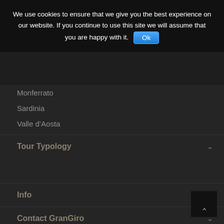We use cookies to ensure that we give you the best experience on our website. If you continue to use this site we will assume that you are happy with it. Ok
Monferrato
Sardinia
Valle d’Aosta
Tour Typology
Info
Contact GranGiro